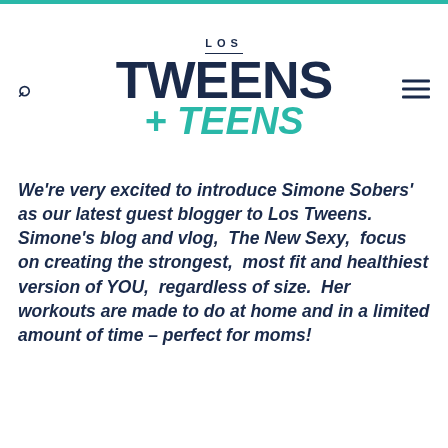LOS TWEENS + TEENS
We're very excited to introduce Simone Sobers' as our latest guest blogger to Los Tweens.  Simone's blog and vlog,  The New Sexy,  focus on creating the strongest,  most fit and healthiest version of YOU,  regardless of size.  Her workouts are made to do at home and in a limited amount of time – perfect for moms!